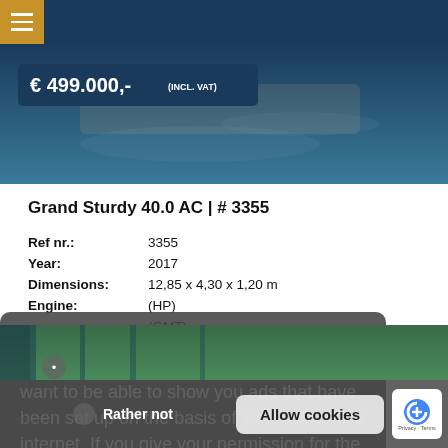Navigation bar with hamburger menu
[Figure (photo): Hero boat photo with dark blue water background and price badge showing € 499.000,- (INCL. VAT)]
Grand Sturdy 40.0 AC | # 3355
| Field | Value |
| --- | --- |
| Ref nr.: | 3355 |
| Year: | 2017 |
| Dimensions: | 12,85 x 4,30 x 1,20 m |
| Engine: | (HP) |
|  | (GMT) |
We use cookies on our website because this is necessary for our services. We also want to be able to show you ads that have been set up on the basis of your use on the internet. If you give your permission for the latter, then click on 'Agree'.  Read more
[Figure (photo): Bottom photo strip showing boat interior/exterior greenery scene]